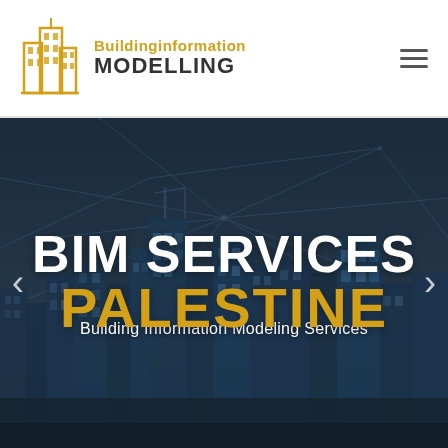[Figure (logo): Building Information Modelling logo with orange building icon and text]
BIM SERVICES
PALESTINE
Building Information Modeling Services
[Figure (photo): Dark blue-tinted cityscape with skyscrapers and network light lines overlay]